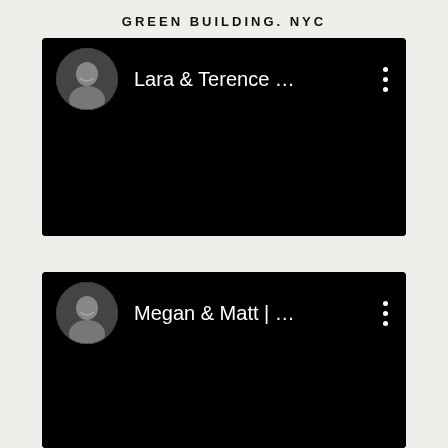GREEN BUILDING. NYC
[Figure (screenshot): Black video card thumbnail with circular avatar photo of a man smiling, text 'Lara & Terence …' and three-dot menu icon]
[Figure (screenshot): Black video card thumbnail with circular avatar photo of a man smiling, text 'Megan & Matt | …' and three-dot menu icon]